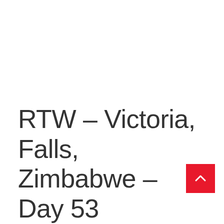RTW – Victoria, Falls, Zimbabwe – Day 53